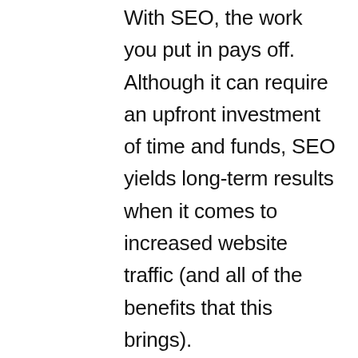With SEO, the work you put in pays off. Although it can require an upfront investment of time and funds, SEO yields long-term results when it comes to increased website traffic (and all of the benefits that this brings).
3. MARKET CONSIDERATION
A major purpose of SEO is to reach people. Potential customers use search engines when researching products or services, and high search engine rankings help them understand why they should choose